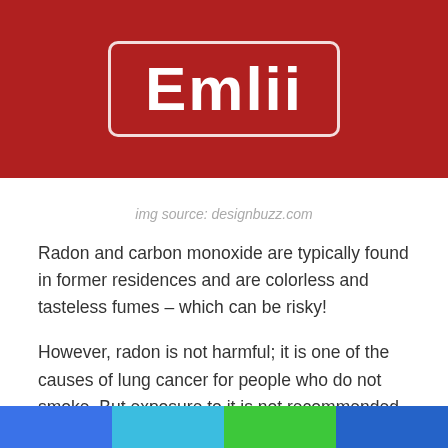[Figure (logo): Emlii logo — white bold text 'Emlii' inside a rounded white border rectangle, on a dark red background]
img source: designbuzz.com
Radon and carbon monoxide are typically found in former residences and are colorless and tasteless fumes – which can be risky!
However, radon is not harmful; it is one of the causes of lung cancer for people who do not smoke. But exposure to it is not recommended. The gas appears from the natural deterioration